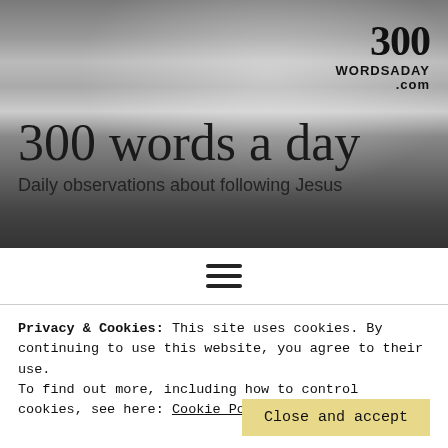[Figure (photo): Black and white photograph of a beach with ocean waves and sunlight reflecting on the water surface.]
300 words a day
Daily observations about following Jesus
300 WORDSADAY .com
[Figure (other): Hamburger menu icon — three horizontal lines stacked vertically.]
Privacy & Cookies: This site uses cookies. By continuing to use this website, you agree to their use.
To find out more, including how to control cookies, see here: Cookie Policy
A prayer for the second Sunday in Lo...
Close and accept